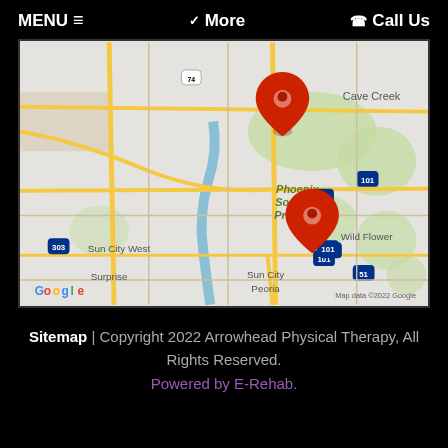MENU ≡   ❯ More   ☎ Call Us
[Figure (map): Google Map showing two red location pin markers in the Phoenix, Arizona area. One pin is in the northern area (near Phoenix Sonoran Preserve / Cave Creek area) and one is in the western area (near Sun City West / Peoria / Surprise area near route 101). Map shows roads, highways (303, 74, 17, 101, 51), landmarks including Phoenix Sonoran Preserve, Wild Flower, Sun City West, Surprise, Sun City, Peoria, Cave Creek. Map data ©2022 Google. Google logo visible bottom left.]
Sitemap | Copyright 2022 Arrowhead Physical Therapy, All Rights Reserved.
Powered by E-Rehab.